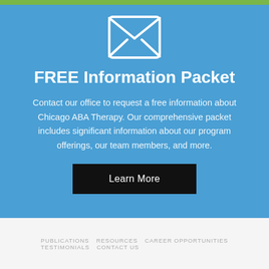[Figure (illustration): White envelope/mail icon on blue background]
FREE Information Packet
Contact our office to request a free information about Chicago ABA Therapy. Our comprehensive packet includes significant information about our program offerings, our team members, and more.
Learn More
PUBLICATIONS   RESOURCES   CAREER OPPORTUNITIES   TESTIMONIALS   CONTACT US